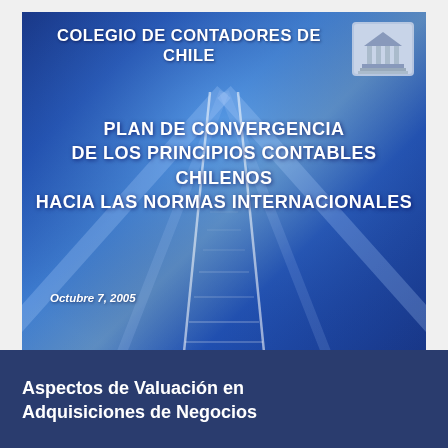[Figure (illustration): Cover slide image with blue gradient railroad track background for a Colegio de Contadores de Chile presentation. Contains organization name at top, a building logo/crest in top right corner, main title text centered, and date at bottom left.]
COLEGIO DE CONTADORES DE CHILE
PLAN DE CONVERGENCIA DE LOS PRINCIPIOS CONTABLES CHILENOS HACIA LAS NORMAS INTERNACIONALES
Octubre 7, 2005
Aspectos de Valuación en Adquisiciones de Negocios